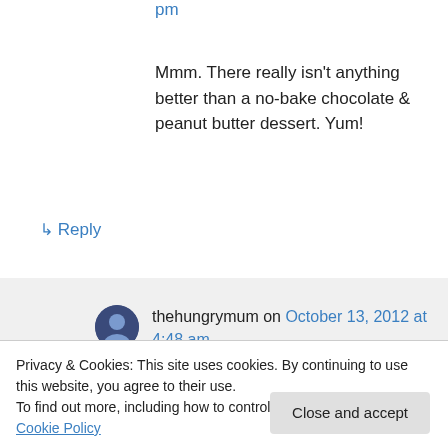pm
Mmm. There really isn't anything better than a no-bake chocolate & peanut butter dessert. Yum!
↳ Reply
thehungrymum on October 13, 2012 at 4:48 am
I know – easy & oh so delish!
Privacy & Cookies: This site uses cookies. By continuing to use this website, you agree to their use. To find out more, including how to control cookies, see here: Cookie Policy
Close and accept
caramel slices 🙂